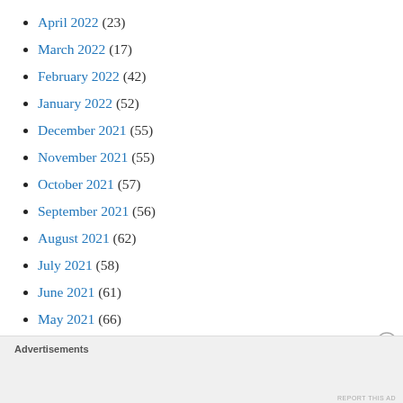April 2022 (23)
March 2022 (17)
February 2022 (42)
January 2022 (52)
December 2021 (55)
November 2021 (55)
October 2021 (57)
September 2021 (56)
August 2021 (62)
July 2021 (58)
June 2021 (61)
May 2021 (66)
April 2021 (66)
Advertisements